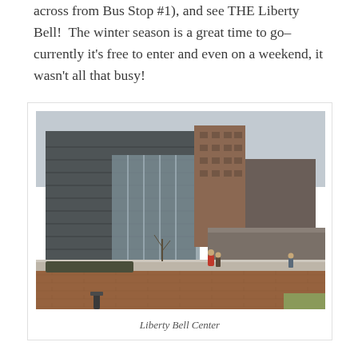across from Bus Stop #1), and see THE Liberty Bell!  The winter season is a great time to go–currently it's free to enter and even on a weekend, it wasn't all that busy!
[Figure (photo): Exterior photo of the Liberty Bell Center building complex in Philadelphia, showing a large modern glass and dark building on the left, a brick tower in the center-right, and a low pavilion to the right. The foreground shows a red brick plaza with a few pedestrians. Winter scene with bare trees and overcast sky.]
Liberty Bell Center